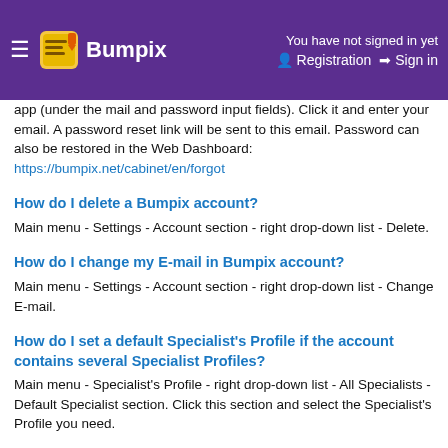Bumpix — You have not signed in yet. Registration | Sign in
app (under the mail and password input fields). Click it and enter your email. A password reset link will be sent to this email. Password can also be restored in the Web Dashboard: https://bumpix.net/cabinet/en/forgot
How do I delete a Bumpix account?
Main menu - Settings - Account section - right drop-down list - Delete.
How do I change my E-mail in Bumpix account?
Main menu - Settings - Account section - right drop-down list - Change E-mail.
How do I set a default Specialist's Profile if the account contains several Specialist Profiles?
Main menu - Specialist's Profile - right drop-down list - All Specialists - Default Specialist section. Click this section and select the Specialist's Profile you need.